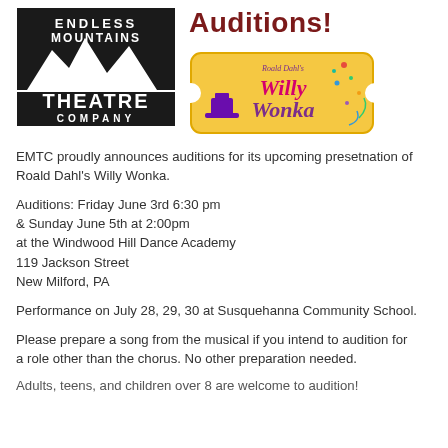[Figure (logo): Endless Mountains Theatre Company logo — black square with white mountain silhouette, text ENDLESS MOUNTAINS THEATRE COMPANY]
Auditions!
[Figure (logo): Roald Dahl's Willy Wonka logo on a golden ticket background with a purple top hat and colorful confetti]
EMTC proudly announces auditions for its upcoming presetnation of Roald Dahl's Willy Wonka.
Auditions: Friday June 3rd 6:30 pm & Sunday June 5th at 2:00pm at the Windwood Hill Dance Academy 119 Jackson Street New Milford, PA
Performance on July 28, 29, 30 at Susquehanna Community School.
Please prepare a song from the musical if you intend to audition for a role other than the chorus. No other preparation needed.
Adults, teens, and children over 8 are welcome to audition!